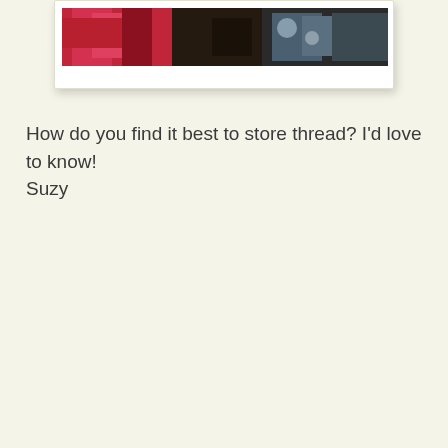[Figure (photo): Partial view of a photo showing colorful thread or yarn in red and other colors, displayed as a polaroid-style photo card at the top of the page.]
How do you find it best to store thread?  I'd love to know!
Suzy